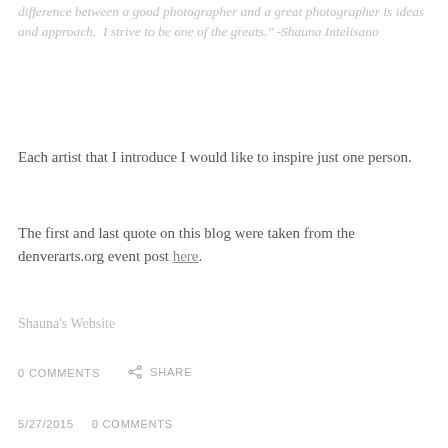difference between a good photographer and a great photographer is ideas and approach.  I strive to be one of the greats." -Shauna Intelisano
Each artist that I introduce I would like to inspire just one person.
The first and last quote on this blog were taken from the denverarts.org event post here.
Shauna's Website
0 COMMENTS   SHARE
5/27/2015   0 COMMENTS